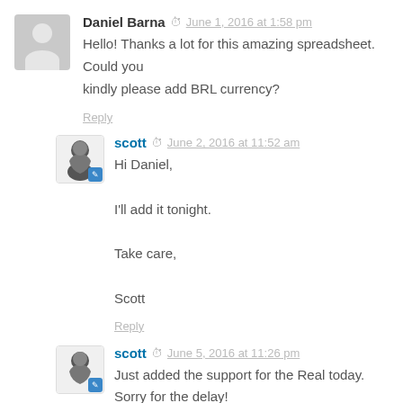Daniel Barna  June 1, 2016 at 1:58 pm
Hello! Thanks a lot for this amazing spreadsheet. Could you kindly please add BRL currency?
Reply
scott  June 2, 2016 at 11:52 am
Hi Daniel,

I'll add it tonight.

Take care,

Scott
Reply
scott  June 5, 2016 at 11:26 pm
Just added the support for the Real today. Sorry for the delay!

Scott
Reply